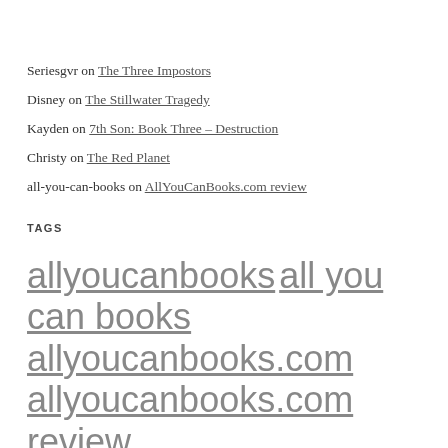Seriesgvr on The Three Impostors
Disney on The Stillwater Tragedy
Kayden on 7th Son: Book Three – Destruction
Christy on The Red Planet
all-you-can-books on AllYouCanBooks.com review
TAGS
allyoucanbooks all you can books allyoucanbooks.com allyoucanbooks.com review allyoucanbooks cancel allyoucanbooks reviews audiobooks audio books audio books free audio books free download audio books online books children books children books online free download audio books